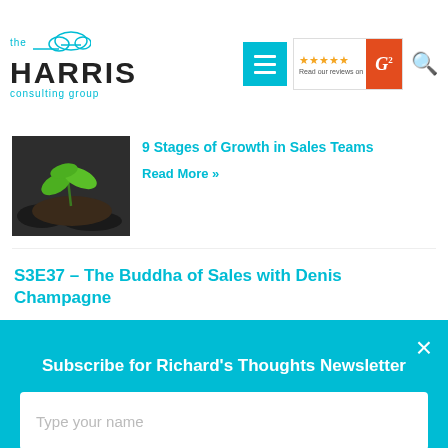the HARRIS consulting group
[Figure (screenshot): Partially visible article thumbnail showing a green plant seedling on dark soil]
9 Stages of Growth in Sales Teams
Read More »
S3E37 – The Buddha of Sales with Denis Champagne
Read More »
Subscribe for Richard's Thoughts Newsletter
Type your name
Type your email
SUBMIT